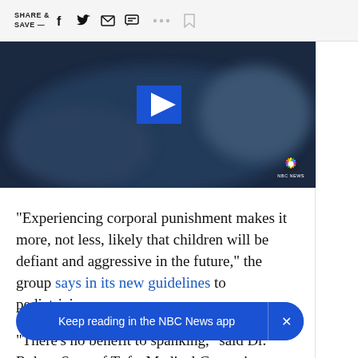SHARE & SAVE —
[Figure (screenshot): NBC News video thumbnail showing a dark blurred background with a blue play button in the center and NBC News watermark in the bottom right corner]
“Experiencing corporal punishment makes it more, not less, likely that children will be defiant and aggressive in the future,” the group says in its new guidelines to pediatricians.
“There’s no benefit to spanking,” said Dr. Robert Sege of Tufts Medical Center in Boston, who help
Keep reading in the NBC News app